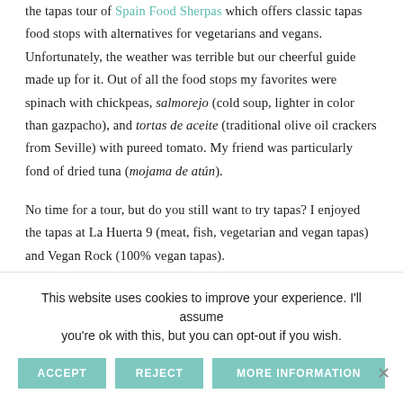the tapas tour of Spain Food Sherpas which offers classic tapas food stops with alternatives for vegetarians and vegans. Unfortunately, the weather was terrible but our cheerful guide made up for it. Out of all the food stops my favorites were spinach with chickpeas, salmorejo (cold soup, lighter in color than gazpacho), and tortas de aceite (traditional olive oil crackers from Seville) with pureed tomato. My friend was particularly fond of dried tuna (mojama de atún).
No time for a tour, but do you still want to try tapas? I enjoyed the tapas at La Huerta 9 (meat, fish, vegetarian and vegan tapas) and Vegan Rock (100% vegan tapas).
This website uses cookies to improve your experience. I'll assume you're ok with this, but you can opt-out if you wish.